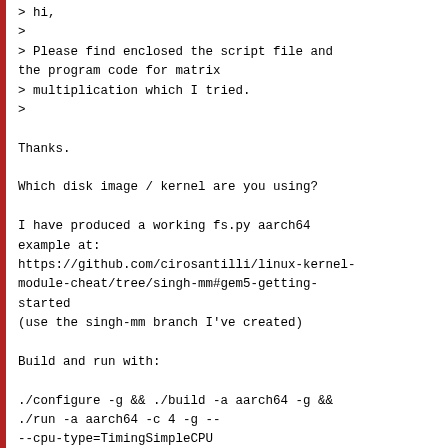> hi,
>
> Please find enclosed the script file and the program code for matrix
> multiplication which I tried.
>

Thanks.

Which disk image / kernel are you using?

I have produced a working fs.py aarch64 example at:
https://github.com/cirosantilli/linux-kernel-module-cheat/tree/singh-mm#gem5-getting-started
(use the singh-mm branch I've created)

Build and run with:

./configure -g && ./build -a aarch64 -g &&
./run -a aarch64 -c 4 -g --
--cpu-type=TimingSimpleCPU